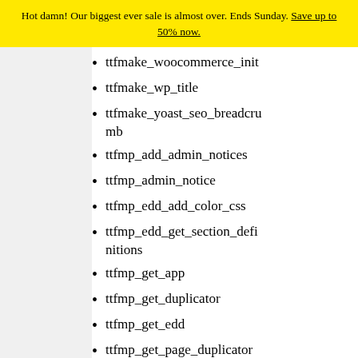Hot damn! Our biggest ever sale is almost over. Ends Sunday. Save up to 50% now.
ttfmake_woocommerce_init
ttfmake_wp_title
ttfmake_yoast_seo_breadcrumb
ttfmp_add_admin_notices
ttfmp_admin_notice
ttfmp_edd_add_color_css
ttfmp_edd_get_section_definitions
ttfmp_get_app
ttfmp_get_duplicator
ttfmp_get_edd
ttfmp_get_page_duplicator